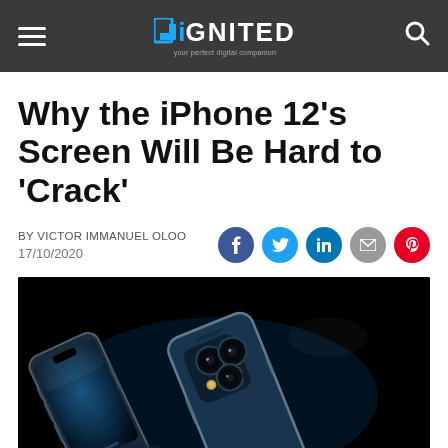DiGNITED
Why the iPhone 12’s Screen Will Be Hard to ‘Crack’
BY VICTOR IMMANUEL OLOO
17/10/2020
[Figure (photo): iPhone 12 Pro devices shown at an angle against a black background, highlighting the triple camera system and stainless steel frame in pacific blue color.]